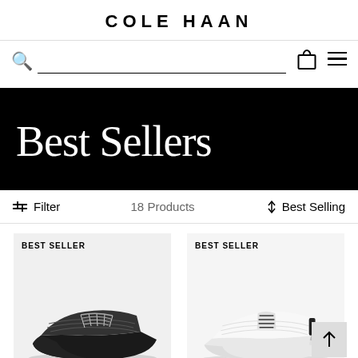COLE HAAN
[Figure (screenshot): Search bar with magnifying glass icon and underline, bag icon, and hamburger menu icon]
[Figure (screenshot): Black banner with large serif text 'Best Sellers']
Filter   18 Products   ↕ Best Selling
[Figure (photo): Two product cards labeled BEST SELLER — left shows a dark grey knit oxford shoe, right shows a white athletic sneaker with black accents]